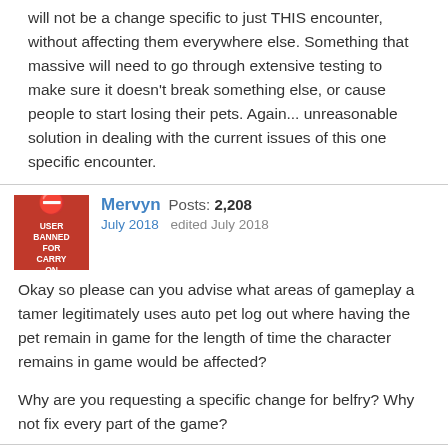will not be a change specific to just THIS encounter, without affecting them everywhere else. Something that massive will need to go through extensive testing to make sure it doesn't break something else, or cause people to start losing their pets.  Again... unreasonable solution in dealing with the current issues of this one specific encounter.
Mervyn Posts: 2,208 July 2018 edited July 2018
Okay so please can you advise what areas of gameplay a tamer legitimately uses auto pet log out where having the pet remain in game for the length of time the character remains in game would be affected?
Why are you requesting a specific change for belfry? Why not fix every part of the game?
Giggles Posts: 61 July 2018
Mervyn said: Okay so please can you advise what areas of gameplay a tamer legitimately uses auto pet log out where having the pet remain in